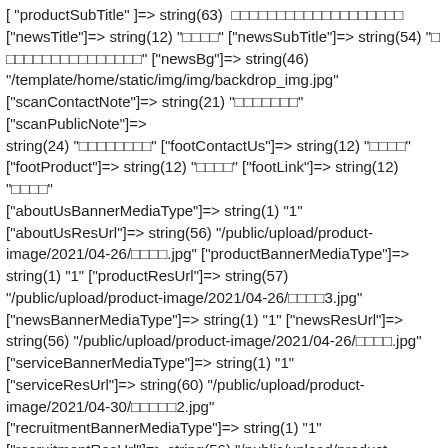[ "productSubTitle" ]=> string(63) 「□□□□□□□□□□□□□□□□□□□ ["newsTitle"]=> string(12) "□□□□" ["newsSubTitle"]=> string(54) "□□□□□□□□□□□□□□□□" ["newsBg"]=> string(46) "/template/home/static/img/img/backdrop_img.jpg" ["scanContactNote"]=> string(21) "□□□□□□□" ["scanPublicNote"]=> string(24) "□□□□□□□□" ["footContactUs"]=> string(12) "□□□□" ["footProduct"]=> string(12) "□□□□" ["footLink"]=> string(12) "□□□□" ["aboutUsBannerMediaType"]=> string(1) "1" ["aboutUsResUrl"]=> string(56) "/public/upload/product-image/2021/04-26/□□□□.jpg" ["productBannerMediaType"]=> string(1) "1" ["productResUrl"]=> string(57) "/public/upload/product-image/2021/04-26/□□□□3.jpg" ["newsBannerMediaType"]=> string(1) "1" ["newsResUrl"]=> string(56) "/public/upload/product-image/2021/04-26/□□□□.jpg" ["serviceBannerMediaType"]=> string(1) "1" ["serviceResUrl"]=> string(60) "/public/upload/product-image/2021/04-30/□□□□□2.jpg" ["recruitmentBannerMediaType"]=> string(1) "1" ["recruitmentResUrl"]=> string(56) "/public/upload/product-image/2021/04-26/□□□□.jpg" ["contactBannerMediaType"]=> string(1) "1" ["contactResUrl"]=> string(56) "/public/upload/product-image/2021/04-26/□□□□.jpg" } ["langLabels"]=> array(2) { ["zh-Hans"]=> string(9) "□□□" ["en"]=> string(7) "English" } ["flagDict"]=> array(2) { ["zh-Hans"]=> string(65) "//aonlotect.com.cn/template/home/static/img/flag/zh...